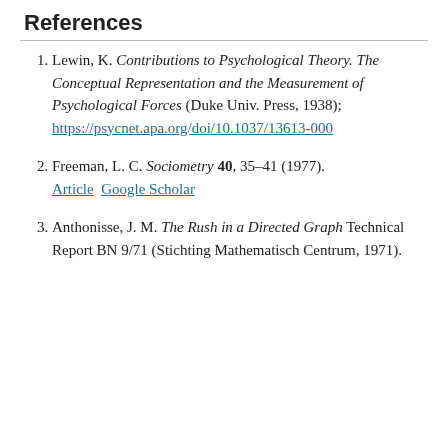References
Lewin, K. Contributions to Psychological Theory. The Conceptual Representation and the Measurement of Psychological Forces (Duke Univ. Press, 1938); https://psycnet.apa.org/doi/10.1037/13613-000
Freeman, L. C. Sociometry 40, 35–41 (1977). Article  Google Scholar
Anthonisse, J. M. The Rush in a Directed Graph Technical Report BN 9/71 (Stichting Mathematisch Centrum, 1971).